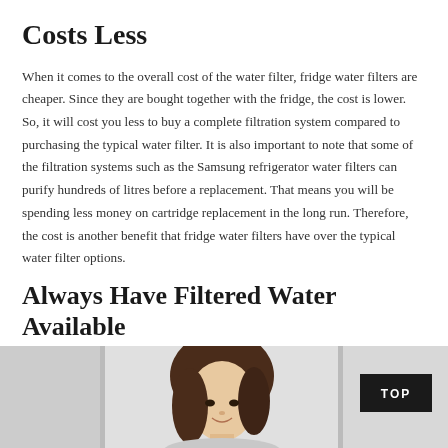Costs Less
When it comes to the overall cost of the water filter, fridge water filters are cheaper. Since they are bought together with the fridge, the cost is lower. So, it will cost you less to buy a complete filtration system compared to purchasing the typical water filter. It is also important to note that some of the filtration systems such as the Samsung refrigerator water filters can purify hundreds of litres before a replacement. That means you will be spending less money on cartridge replacement in the long run. Therefore, the cost is another benefit that fridge water filters have over the typical water filter options.
Always Have Filtered Water Available
[Figure (photo): Photo of a woman with dark hair smiling, shown from shoulders up against a light background. A dark 'TOP' button is visible in the top-right area of the photo strip.]